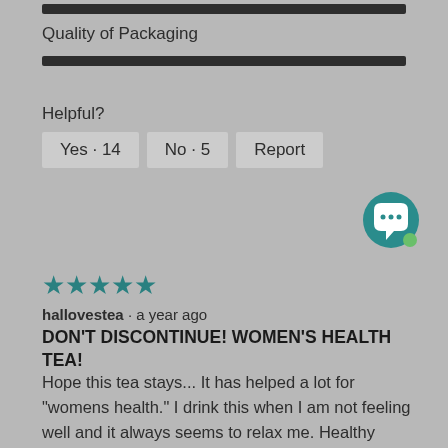[Figure (other): Rating bar at top of page (partially cropped)]
Quality of Packaging
[Figure (other): Quality of Packaging rating bar, filled nearly to full]
Helpful?
Yes · 14
No · 5
Report
[Figure (other): Teal chat bubble icon with ellipsis and green dot]
[Figure (other): 5 star rating (teal stars)]
hallovestea · a year ago
DON'T DISCONTINUE! WOMEN'S HEALTH TEA!
Hope this tea stays... It has helped a lot for "womens health." I drink this when I am not feeling well and it always seems to relax me. Healthy menstruation, tones the uterus, and helps with cramps! I can literally feel my body relaxing when I drink this. Please keep this tea so I don't have to search from other businesses. I love supporting davids tea!